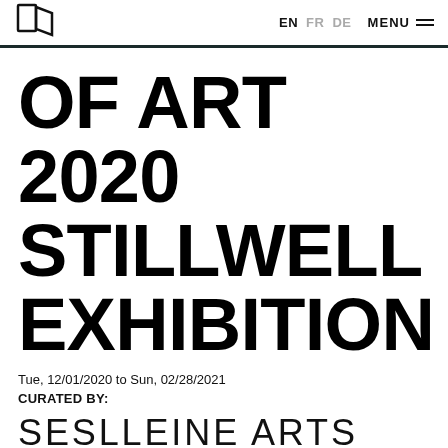EN FR DE MENU
OF ART 2020 STILLWELL EXHIBITION
Tue, 12/01/2020 to Sun, 02/28/2021
CURATED BY:
SESLLEINE ARTS GALLERY